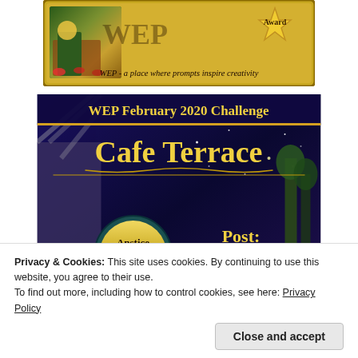[Figure (illustration): WEP award badge with golden border, artwork showing The Kiss painting and a golden star shape, with tagline 'WEP - a place where prompts inspire creativity']
[Figure (illustration): WEP February 2020 Challenge banner for 'Cafe Terrace' showing Van Gogh-style night sky painting. Features a golden seal/badge with 'Anstice Brown WINNER' and text 'Post: Feb 19 - 21']
Privacy & Cookies: This site uses cookies. By continuing to use this website, you agree to their use.
To find out more, including how to control cookies, see here: Privacy Policy
Close and accept